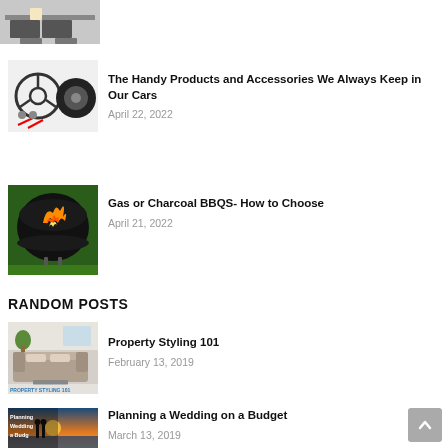[Figure (photo): Partial view of a living room thumbnail at top]
[Figure (photo): Car accessories illustration with steering wheel and tools]
The Handy Products and Accessories We Always Keep in Our Cars
April 22, 2022
[Figure (photo): BBQ grill with fire/charcoal burning]
Gas or Charcoal BBQS- How to Choose
April 21, 2022
RANDOM POSTS
[Figure (photo): Property Styling 101 thumbnail – styled living room]
Property Styling 101
February 13, 2019
[Figure (photo): Planning a Wedding on a Budget – couple on beach at sunset]
Planning a Wedding on a Budget
March 13, 2019